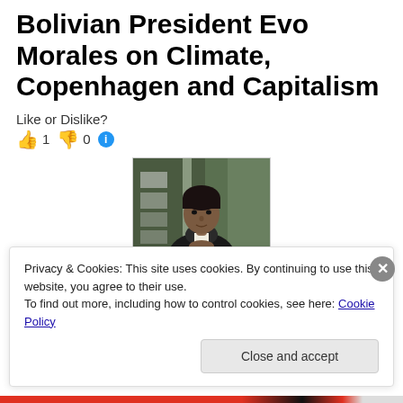Bolivian President Evo Morales on Climate, Copenhagen and Capitalism
Like or Dislike?
👍 1 👎 0 ℹ
[Figure (photo): Photo of Bolivian President Evo Morales, a man with dark hair wearing a black jacket, seated with greenery in the background]
https://... /2009/12/17/bolivian-presid...
Privacy & Cookies: This site uses cookies. By continuing to use this website, you agree to their use.
To find out more, including how to control cookies, see here: Cookie Policy
Close and accept